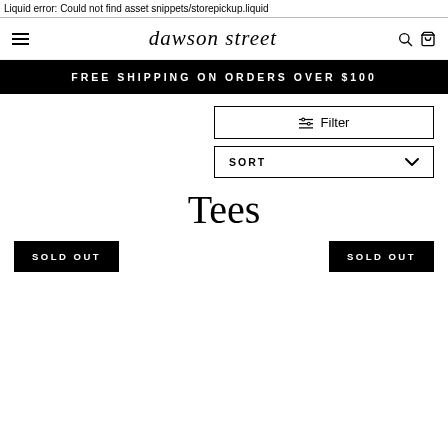Liquid error: Could not find asset snippets/storepickup.liquid
dawson street — navigation with hamburger menu, search and cart icons
FREE SHIPPING ON ORDERS OVER $100
Filter
SORT
Tees
SOLD OUT
SOLD OUT